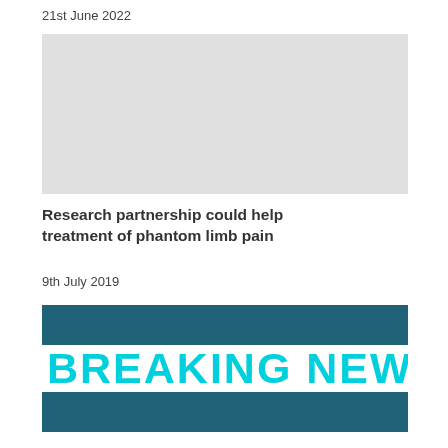21st June 2022
[Figure (photo): Light grey placeholder image for an article]
Research partnership could help treatment of phantom limb pain
9th July 2019
[Figure (illustration): Breaking News banner with teal background and cyan bold text reading 'Breaking News']